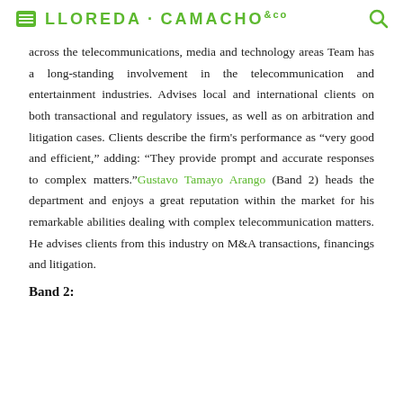LLOREDA · CAMACHO &co
across the telecommunications, media and technology areas Team has a long-standing involvement in the telecommunication and entertainment industries. Advises local and international clients on both transactional and regulatory issues, as well as on arbitration and litigation cases. Clients describe the firm's performance as "very good and efficient," adding: "They provide prompt and accurate responses to complex matters." Gustavo Tamayo Arango (Band 2) heads the department and enjoys a great reputation within the market for his remarkable abilities dealing with complex telecommunication matters. He advises clients from this industry on M&A transactions, financings and litigation.
Band 2: